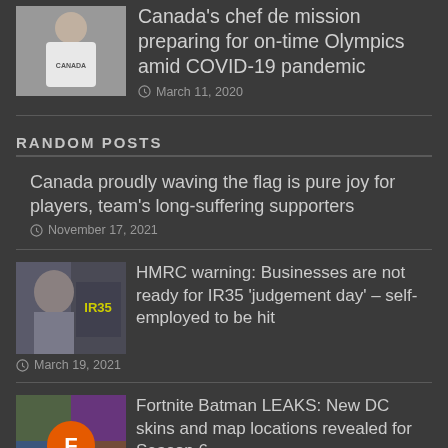[Figure (photo): Woman in white Canada t-shirt]
Canada's chef de mission preparing for on-time Olympics amid COVID-19 pandemic
March 11, 2020
RANDOM POSTS
Canada proudly waving the flag is pure joy for players, team's long-suffering supporters
November 17, 2021
[Figure (photo): IR35 related image with person and IR35 text overlay]
HMRC warning: Businesses are not ready for IR35 'judgement day' – self-employed to be hit
March 19, 2021
[Figure (photo): Fortnite Batman promotional image with orange F logo]
Fortnite Batman LEAKS: New DC skins and map locations revealed for Season 6
March 19, 2021
[Figure (photo): Person in baseball cap - Everton vs Liverpool article thumbnail]
Everton vs Liverpool prediction: Who will win the